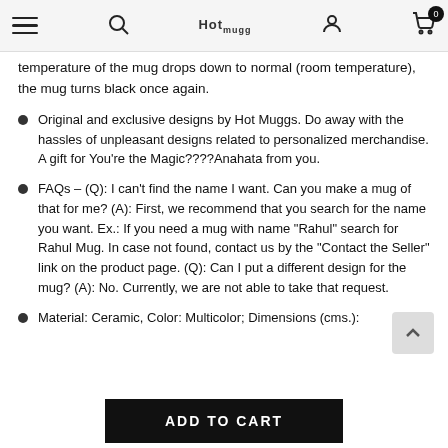Hot Muggs navigation bar with menu, search, logo, user, and cart icons
temperature of the mug drops down to normal (room temperature), the mug turns black once again.
Original and exclusive designs by Hot Muggs. Do away with the hassles of unpleasant designs related to personalized merchandise. A gift for You're the Magic????Anahata from you.
FAQs - (Q): I can't find the name I want. Can you make a mug of that for me? (A): First, we recommend that you search for the name you want. Ex.: If you need a mug with name "Rahul" search for Rahul Mug. In case not found, contact us by the "Contact the Seller" link on the product page. (Q): Can I put a different design for the mug? (A): No. Currently, we are not able to take that request.
Material: Ceramic, Color: Multicolor; Dimensions (cms.):